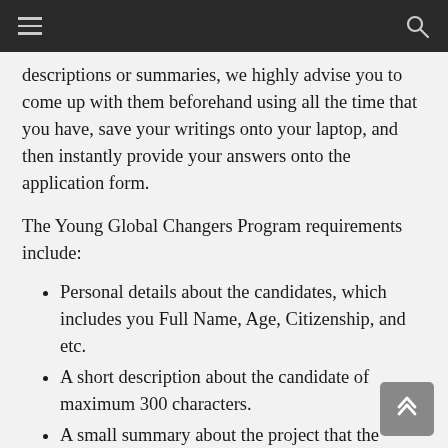descriptions or summaries, we highly advise you to come up with them beforehand using all the time that you have, save your writings onto your laptop, and then instantly provide your answers onto the application form.
The Young Global Changers Program requirements include:
Personal details about the candidates, which includes you Full Name, Age, Citizenship, and etc.
A short description about the candidate of maximum 300 characters.
A small summary about the project that the candidate is currently working on.
Choose a global policy are that reflects the